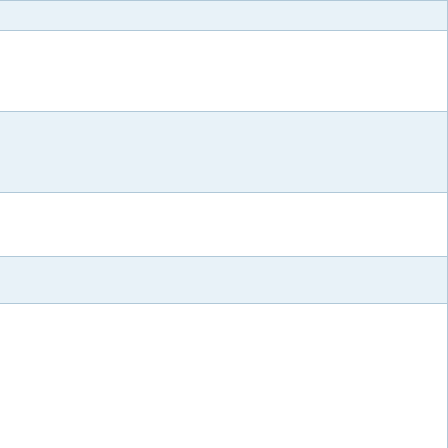| Miles | Place | Description |
| --- | --- | --- |
|  |  | fa... |
| 45.0
72.4 | Warm Springs, Oregon | E c S R... |
| 45.9
73.9 | Warm Springs Museum | E N M S... |
| 47.0
75.6 | Deschutes River, Oregon | C d C... |
| 47.3
76.1 | Warm Springs State Park | P b... |
| 49.8
80.1 | Pelton Dam Junction | T S b L C E b... |
| 59.2
95.3 | Madras, Oregon | N N... |